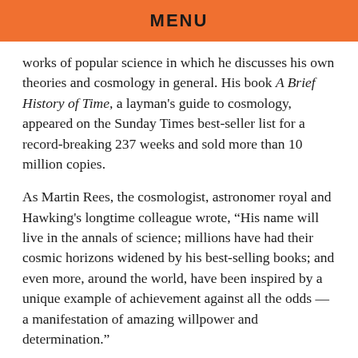MENU
works of popular science in which he discusses his own theories and cosmology in general. His book A Brief History of Time, a layman's guide to cosmology, appeared on the Sunday Times best-seller list for a record-breaking 237 weeks and sold more than 10 million copies.
As Martin Rees, the cosmologist, astronomer royal and Hawking's longtime colleague wrote, “His name will live in the annals of science; millions have had their cosmic horizons widened by his best-selling books; and even more, around the world, have been inspired by a unique example of achievement against all the odds — a manifestation of amazing willpower and determination.”
In this concise and informative guide to Hawking’s life and work, his key scientific achievements – from gravitational singularities to quantum cosmology – are covered in an approachable and accessible way. This is a celebration of an icon of modern physics, who inspired generations of